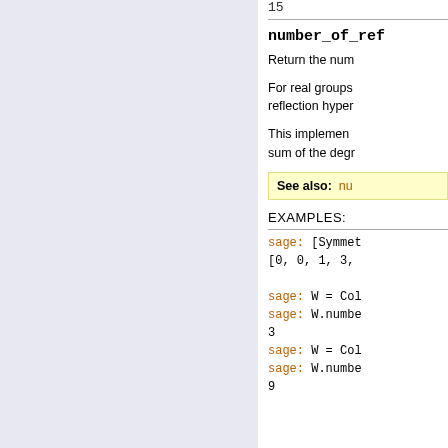15
number_of_ref
Return the num
For real groups reflection hyper
This implement sum of the degr
See also:  nu
EXAMPLES:
sage: [Symmet
[0, 0, 1, 3,

sage: W = Col
sage: W.numbe
3
sage: W = Col
sage: W.numbe
9